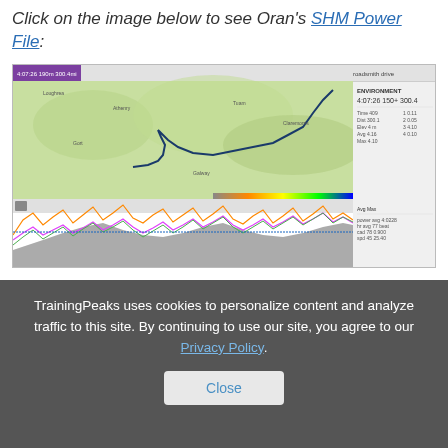Click on the image below to see Oran's SHM Power File:
[Figure (screenshot): Screenshot of a TrainingPeaks activity page showing a cycling route map on a topographic background with a route traced in dark blue, along with performance data panels on the right and a multicolored power/heart rate chart at the bottom.]
TrainingPeaks uses cookies to personalize content and analyze traffic to this site. By continuing to use our site, you agree to our Privacy Policy.
Close